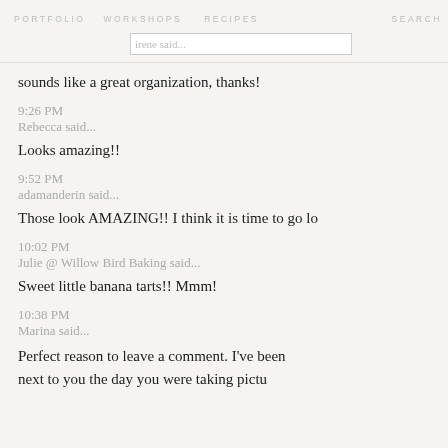PORTFOLIO   WORKSHOPS   RECIPES   SEARCH
sounds like a great organization, thanks!
9:26 PM
Rebecca said...
Looks amazing!!
9:52 PM
adamanderin said...
Those look AMAZING!! I think it is time to go lo
10:02 PM
Julie @ Willow Bird Baking said...
Sweet little banana tarts!! Mmm!
10:38 PM
Marina said...
Perfect reason to leave a comment. I've been
next to you the day you were taking pictu